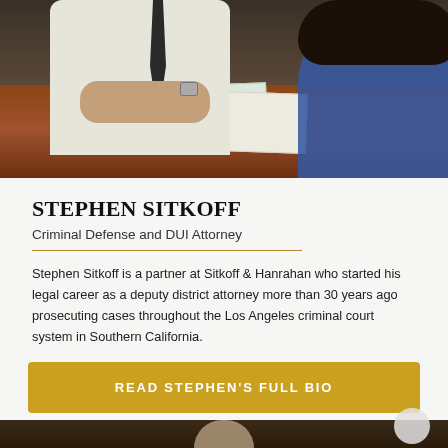[Figure (photo): Two people at a desk/table — a man in a white shirt with tie reviewing papers, and a woman in a blue top visible on the right side. A wooden table with documents visible.]
STEPHEN SITKOFF
Criminal Defense and DUI Attorney
Stephen Sitkoff is a partner at Sitkoff & Hanrahan who started his legal career as a deputy district attorney more than 30 years ago prosecuting cases throughout the Los Angeles criminal court system in Southern California.
READ STEPHEN'S FULL BIO